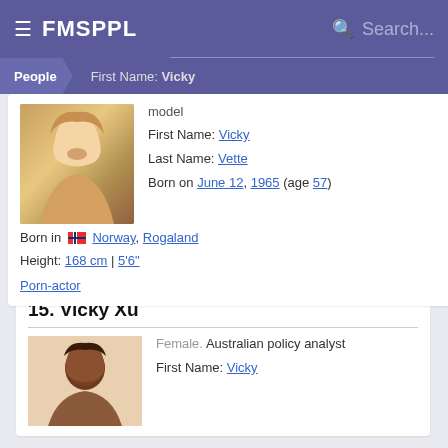FMSPPL  Search...
People > First Name: Vicky
model
First Name: Vicky
Last Name: Vette
Born on June 12, 1965 (age 57)
Born in Norway, Rogaland
Height: 168 cm | 5'6"
Porn-actor
15. Vicky Xu
Female. Australian policy analyst
First Name: Vicky